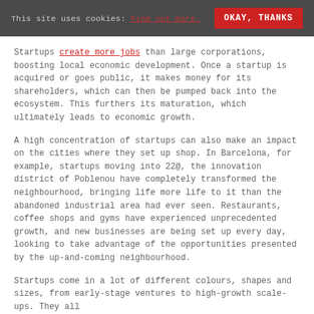This site uses cookies: Find out more. OKAY, THANKS
Startups create more jobs than large corporations, boosting local economic development. Once a startup is acquired or goes public, it makes money for its shareholders, which can then be pumped back into the ecosystem. This furthers its maturation, which ultimately leads to economic growth.
A high concentration of startups can also make an impact on the cities where they set up shop. In Barcelona, for example, startups moving into 22@, the innovation district of Poblenou have completely transformed the neighbourhood, bringing life more life to it than the abandoned industrial area had ever seen. Restaurants, coffee shops and gyms have experienced unprecedented growth, and new businesses are being set up every day, looking to take advantage of the opportunities presented by the up-and-coming neighbourhood.
Startups come in a lot of different colours, shapes and sizes, from early-stage ventures to high-growth scale-ups. They all have their distinctive place in the greater world...